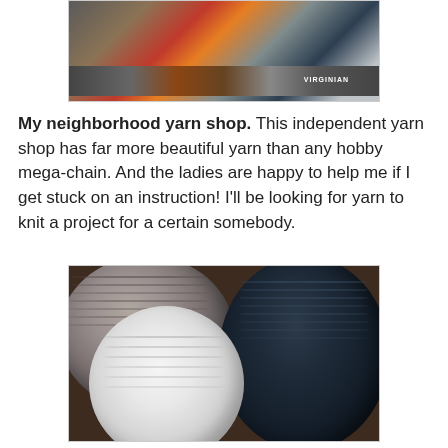[Figure (photo): Photograph of model trains on a track, including a Virginian railroad car]
My neighborhood yarn shop. This independent yarn shop has far more beautiful yarn than any hobby mega-chain. And the ladies are happy to help me if I get stuck on an instruction! I'll be looking for yarn to knit a project for a certain somebody.
[Figure (photo): Photograph of three balls/skeins of yarn: gray variegated, white, and dark navy]
Our local thrift store and flea market...